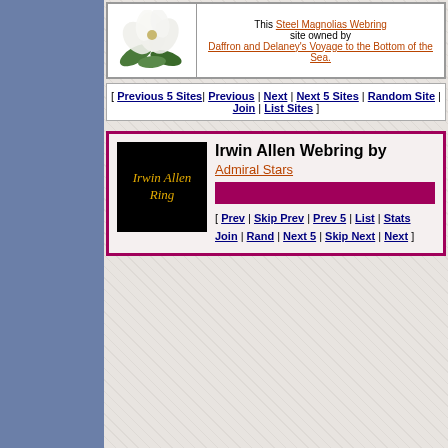[Figure (illustration): Magnolia flower illustration (white flower with green leaves)]
This Steel Magnolias Webring site owned by Daffron and Delaney's Voyage to the Bottom of the Sea.
[ Previous 5 Sites | Previous | Next | Next 5 Sites | Random Site | Join | List Sites ]
[Figure (illustration): Black badge with yellow italic text 'Irwin Allen Ring']
Irwin Allen Webring by Admiral Stars
[ Prev | Skip Prev | Prev 5 | List | Stats Join | Rand | Next 5 | Skip Next | Next ]